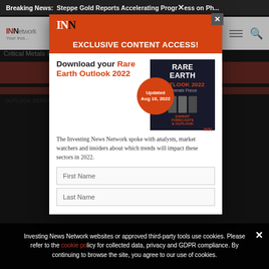Breaking News: Steppe Gold Reports Accelerating Progress on Ph...
[Figure (screenshot): Investing News Network (INN) website header with logo and navigation]
Critical Metals › Rare Earth
[Figure (screenshot): Background page content showing INN article page, dimmed behind modal]
EXCLUSIVE CONTENT ACCESS!
Download your Rare Earth Outlook 2022
[Figure (illustration): Rare Earth Outlook 2022 book cover with Updated Aug 10, 2022 badge]
The Investing News Network spoke with analysts, market watchers and insiders about which trends will impact these sectors in 2022.
First Name
Last Name
Investing News Network websites or approved third-party tools use cookies. Please refer to the cookie policy for collected data, privacy and GDPR compliance. By continuing to browse the site, you agree to our use of cookies.